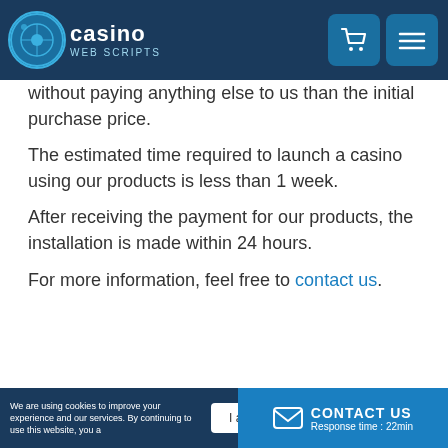Casino Web Scripts - navigation header with cart and menu icons
without paying anything else to us than the initial purchase price. The estimated time required to launch a casino using our products is less than 1 week. After receiving the payment for our products, the installation is made within 24 hours.

For more information, feel free to contact us.
We are using cookies to improve your experience and our services. By continuing to use this website, you agree | I agree! | CONTACT US Response time : 22min